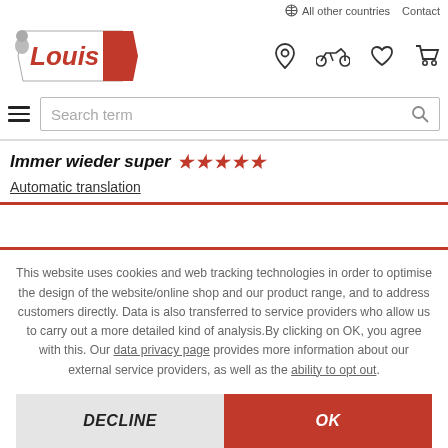All other countries   Contact
[Figure (logo): Louis motorcycle brand logo — red and grey stylized text with a motorcyclist figure]
Search term
Immer wieder super ★★★★★
Automatic translation
This website uses cookies and web tracking technologies in order to optimise the design of the website/online shop and our product range, and to address customers directly. Data is also transferred to service providers who allow us to carry out a more detailed kind of analysis. By clicking on OK, you agree with this. Our data privacy page provides more information about our external service providers, as well as the ability to opt out.
DECLINE
OK